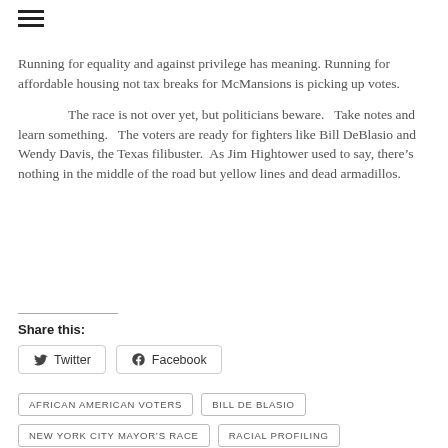Running for equality and against privilege has meaning. Running for affordable housing not tax breaks for McMansions is picking up votes.
The race is not over yet, but politicians beware.   Take notes and learn something.   The voters are ready for fighters like Bill DeBlasio and Wendy Davis, the Texas filibuster.  As Jim Hightower used to say, there’s nothing in the middle of the road but yellow lines and dead armadillos.
Share this:
Twitter
Facebook
AFRICAN AMERICAN VOTERS
BILL DE BLASIO
NEW YORK CITY MAYOR'S RACE
RACIAL PROFILING